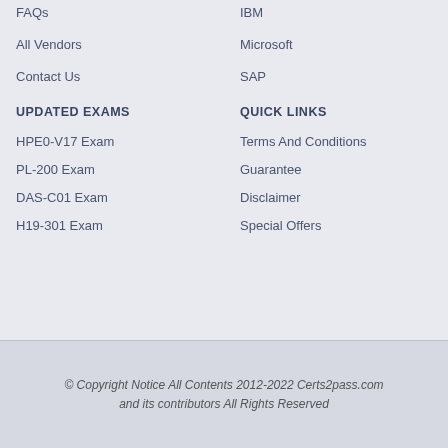FAQs
All Vendors
Contact Us
IBM
Microsoft
SAP
UPDATED EXAMS
QUICK LINKS
HPE0-V17 Exam
PL-200 Exam
DAS-C01 Exam
H19-301 Exam
Terms And Conditions
Guarantee
Disclaimer
Special Offers
© Copyright Notice All Contents 2012-2022 Certs2pass.com and its contributors All Rights Reserved